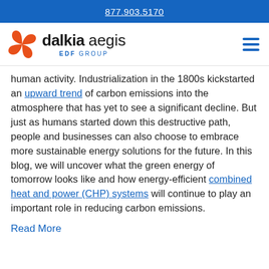877.903.5170
[Figure (logo): Dalkia Aegis EDF Group logo with orange pinwheel icon and hamburger menu icon]
human activity. Industrialization in the 1800s kickstarted an upward trend of carbon emissions into the atmosphere that has yet to see a significant decline. But just as humans started down this destructive path, people and businesses can also choose to embrace more sustainable energy solutions for the future. In this blog, we will uncover what the green energy of tomorrow looks like and how energy-efficient combined heat and power (CHP) systems will continue to play an important role in reducing carbon emissions.
Read More